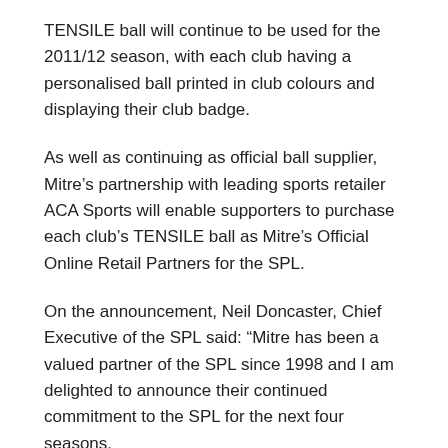TENSILE ball will continue to be used for the 2011/12 season, with each club having a personalised ball printed in club colours and displaying their club badge.
As well as continuing as official ball supplier, Mitre's partnership with leading sports retailer ACA Sports will enable supporters to purchase each club's TENSILE ball as Mitre's Official Online Retail Partners for the SPL.
On the announcement, Neil Doncaster, Chief Executive of the SPL said: “Mitre has been a valued partner of the SPL since 1998 and I am delighted to announce their continued commitment to the SPL for the next four seasons.